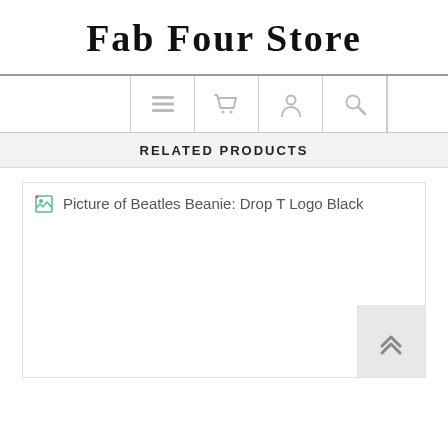Fab Four Store
[Figure (screenshot): Navigation bar with icons: hamburger menu, shopping cart, user account, search, and empty left/right areas]
RELATED PRODUCTS
[Figure (photo): Product image placeholder for Beatles Beanie: Drop T Logo Black — broken image icon with alt text 'Picture of Beatles Beanie: Drop T Logo Black']